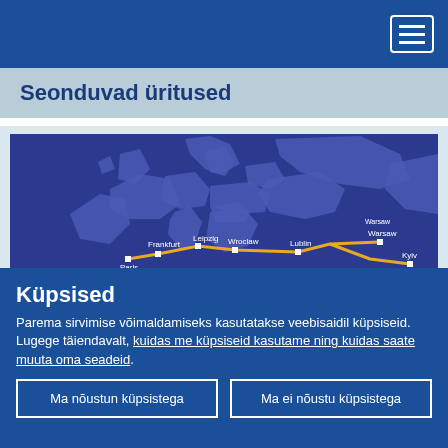Navigation header with hamburger menu
Seonduvad üritused
[Figure (map): Map of Europe showing a rail or transport route connecting cities including Paris, Brussels, Frankfurt, Leipzig, Wroclaw, Lublin, Warsaw, and Kyiv, with a yellow line tracing the route from west to east.]
Küpsised
Parema sirvimise võimaldamiseks kasutatakse veebisaidil küpsiseid. Lugege täiendavalt, kuidas me küpsiseid kasutame ning kuidas saate muuta oma seadeid.
Ma nõustun küpsistega
Ma ei nõustu küpsistega